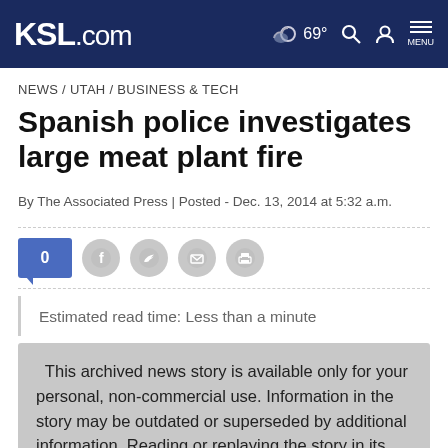KSL.com — 69° MENU
NEWS / UTAH / BUSINESS & TECH
Spanish police investigates large meat plant fire
By The Associated Press | Posted - Dec. 13, 2014 at 5:32 a.m.
0 [social icons: Facebook, Twitter, Email, Print]
Estimated read time: Less than a minute
This archived news story is available only for your personal, non-commercial use. Information in the story may be outdated or superseded by additional information. Reading or replaying the story in its